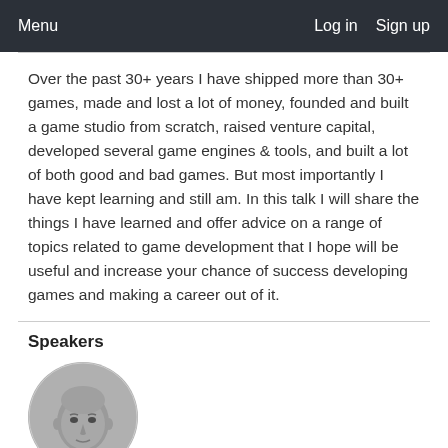Menu   Log in   Sign up
Over the past 30+ years I have shipped more than 30+ games, made and lost a lot of money, founded and built a game studio from scratch, raised venture capital, developed several game engines & tools, and built a lot of both good and bad games. But most importantly I have kept learning and still am. In this talk I will share the things I have learned and offer advice on a range of topics related to game development that I hope will be useful and increase your chance of success developing games and making a career out of it.
Speakers
[Figure (photo): Circular black and white headshot photo of a bald man]